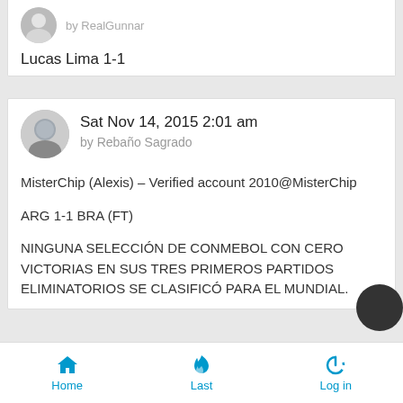Lucas Lima 1-1
Sat Nov 14, 2015 2:01 am
by Rebaño Sagrado
MisterChip (Alexis) – Verified account 2010@MisterChip

ARG 1-1 BRA (FT)

NINGUNA SELECCIÓN DE CONMEBOL CON CERO VICTORIAS EN SUS TRES PRIMEROS PARTIDOS ELIMINATORIOS SE CLASIFICÓ PARA EL MUNDIAL.
Home | Last | Log in